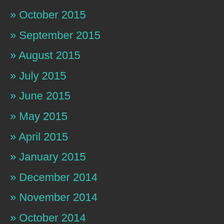» October 2015
» September 2015
» August 2015
» July 2015
» June 2015
» May 2015
» April 2015
» January 2015
» December 2014
» November 2014
» October 2014
» September 2014
» August 2014
» May 2014